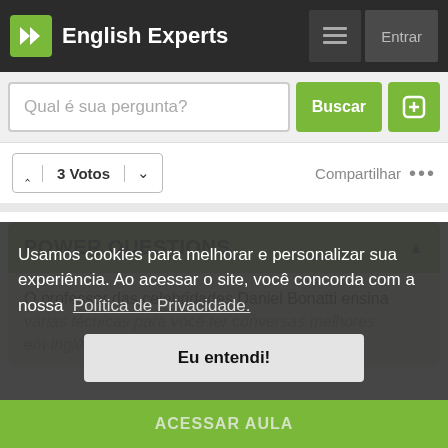English Experts
Qual é sua pergunta?
3 Votos  Compartilhar
POWER QUESTIONS
O professor das celebridades Daniel Bonatti ensina várias técnicas para você ter conversas melhores em inglês. Com conversas melhores, você vai alcançar seus objetivos.
Usamos cookies para melhorar e personalizar sua experiência. Ao acessar o site, você concorda com a nossa  Política de Privacidade.
Eu entendi!
ACESSAR AULA